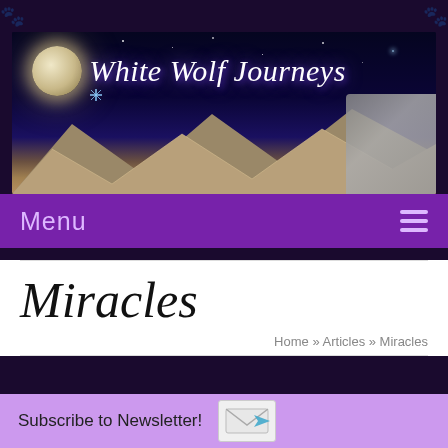[Figure (illustration): White Wolf Journeys website banner with night sky, moon, mountains, and wolf/woman image]
Menu
Miracles
Home » Articles » Miracles
Subscribe to Newsletter!